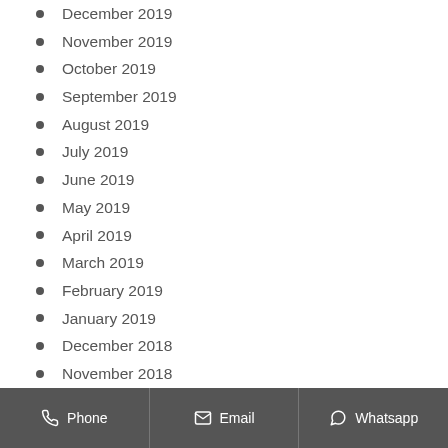December 2019
November 2019
October 2019
September 2019
August 2019
July 2019
June 2019
May 2019
April 2019
March 2019
February 2019
January 2019
December 2018
November 2018
October 2018
September 2018
Phone  Email  Whatsapp